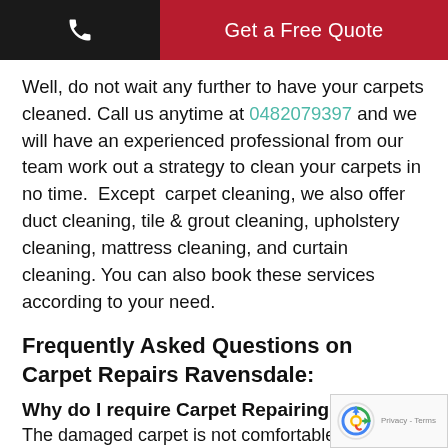Phone | Get a Free Quote
Well, do not wait any further to have your carpets cleaned. Call us anytime at 0482079397 and we will have an experienced professional from our team work out a strategy to clean your carpets in no time.  Except  carpet cleaning, we also offer duct cleaning, tile & grout cleaning, upholstery cleaning, mattress cleaning, and curtain cleaning. You can also book these services according to your need.
Frequently Asked Questions on Carpet Repairs Ravensdale:
Why do I require Carpet Repairing?
The damaged carpet is not comfortable fo...